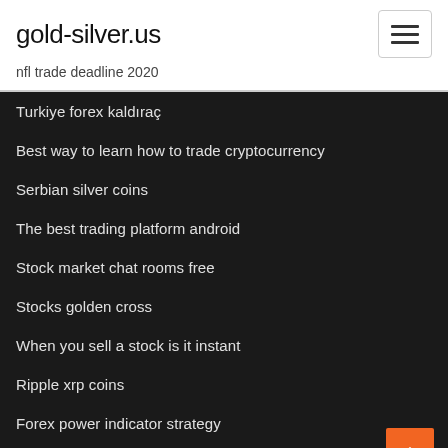gold-silver.us
nfl trade deadline 2020
Turkiye forex kaldıraç
Best way to learn how to trade cryptocurrency
Serbian silver coins
The best trading platform android
Stock market chat rooms free
Stocks golden cross
When you sell a stock is it instant
Ripple xrp coins
Forex power indicator strategy
Gcm forex demo hesap kapatma